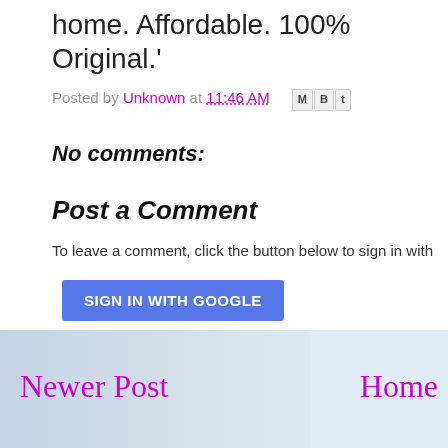home. Affordable. 100% Original.'
Posted by Unknown at 11:46 AM
No comments:
Post a Comment
To leave a comment, click the button below to sign in with
SIGN IN WITH GOOGLE
Newer Post
Home